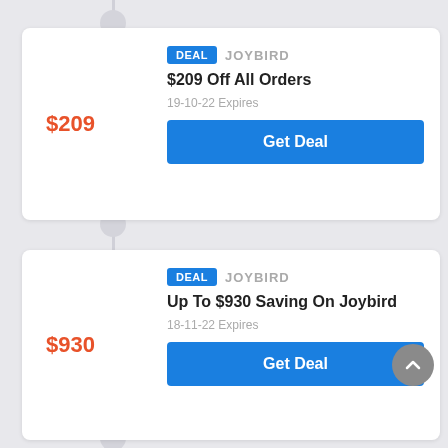$209
$209 Off All Orders
DEAL   JOYBIRD
19-10-22 Expires
Get Deal
$930
Up To $930 Saving On Joybird
DEAL   JOYBIRD
18-11-22 Expires
Get Deal